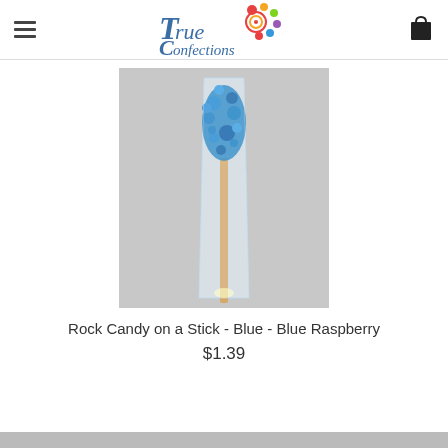True Confections - candy store & more
[Figure (photo): Blue rock candy on a stick wrapped in clear cellophane packaging, standing upright. The candy crystals are bright blue clustered at the top of a wooden stick.]
Rock Candy on a Stick - Blue - Blue Raspberry
$1.39